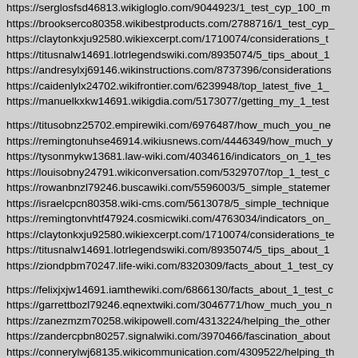https://serglosfsd46813.wikigloglo.com/9044923/1_test_cyp_100_m
https://brookserco80358.wikibestproducts.com/2788716/1_test_cyp_
https://claytonkxju92580.wikiexcerpt.com/1710074/considerations_t
https://titusnalw14691.lotrlegendswiki.com/8935074/5_tips_about_1
https://andresylxj69146.wikinstructions.com/8737396/considerations
https://caidenlylx24702.wikifrontier.com/6239948/top_latest_five_1_
https://manuelkxkw14691.wikigdia.com/5173077/getting_my_1_test
https://titusobnz25702.empirewiki.com/6976487/how_much_you_ne
https://remingtonuhse46914.wikiusnews.com/4446349/how_much_y
https://tysonmykw13681.law-wiki.com/4034616/indicators_on_1_tes
https://louisobny24791.wikiconversation.com/5329707/top_1_test_c
https://rowanbnzl79246.buscawiki.com/5596003/5_simple_statemer
https://israelcpcn80358.wiki-cms.com/5613078/5_simple_technique
https://remingtonvhtf47924.cosmicwiki.com/4763034/indicators_on_
https://claytonkxju92580.wikiexcerpt.com/1710074/considerations_te
https://titusnalw14691.lotrlegendswiki.com/8935074/5_tips_about_1
https://ziondpbm70247.life-wiki.com/8320309/facts_about_1_test_cy
https://felixjxjw14691.iamthewiki.com/6866130/facts_about_1_test_c
https://garrettbozl79246.eqnextwiki.com/3046771/how_much_you_n
https://zanezmzm70258.wikipowell.com/4313224/helping_the_other
https://zandercpbn80257.signalwiki.com/3970466/fascination_about
https://connerylwj68135.wikicommunication.com/4309522/helping_th
https://holdenqdqc47924.mappywiki.com/5614040/indicators_on_1
https://andresylxj69146.wikinstructions.com/8737396/considerations
https://reidhviu03581.illawiki.com/2383395/the_smart_trick_of_1_tes